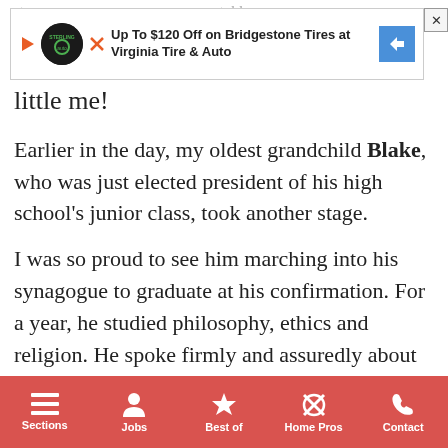[Figure (screenshot): Advertisement banner for Virginia Tire & Auto offering up to $120 off on Bridgestone Tires, with close button]
stage so... told me later in ... he's a little me!
Earlier in the day, my oldest grandchild Blake, who was just elected president of his high school's junior class, took another stage.
I was so proud to see him marching into his synagogue to graduate at his confirmation. For a year, he studied philosophy, ethics and religion. He spoke firmly and assuredly about his opinion of euthanasia. I am bursting with pride and am so impressed with the man he is becoming.
Sections  Jobs  Best of  Home Pros  Contact